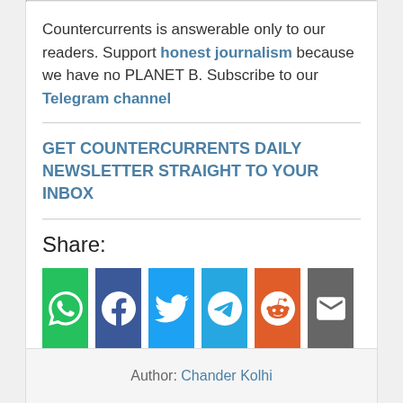Countercurrents is answerable only to our readers. Support honest journalism because we have no PLANET B. Subscribe to our Telegram channel
GET COUNTERCURRENTS DAILY NEWSLETTER STRAIGHT TO YOUR INBOX
Share:
[Figure (infographic): Social share buttons: WhatsApp (green), Facebook (dark blue), Twitter (light blue), Telegram (blue), Reddit (orange), Email (gray)]
Author: Chander Kolhi